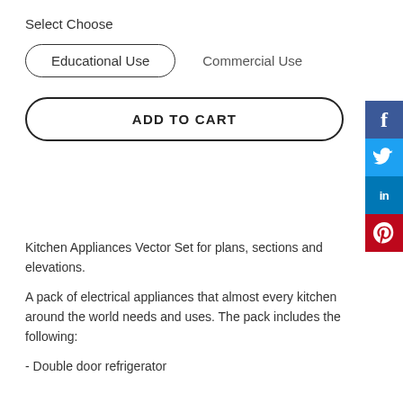Select Choose
Educational Use    Commercial Use
ADD TO CART
Kitchen Appliances Vector Set for plans, sections and elevations.
A pack of electrical appliances that almost every kitchen around the world needs and uses. The pack includes the following:
- Double door refrigerator